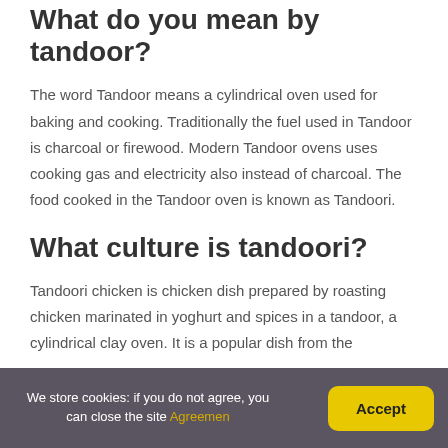What do you mean by tandoor?
The word Tandoor means a cylindrical oven used for baking and cooking. Traditionally the fuel used in Tandoor is charcoal or firewood. Modern Tandoor ovens uses cooking gas and electricity also instead of charcoal. The food cooked in the Tandoor oven is known as Tandoori.
What culture is tandoori?
Tandoori chicken is chicken dish prepared by roasting chicken marinated in yoghurt and spices in a tandoor, a cylindrical clay oven. It is a popular dish from the
We store cookies: if you do not agree, you can close the site Agreemen   Accept